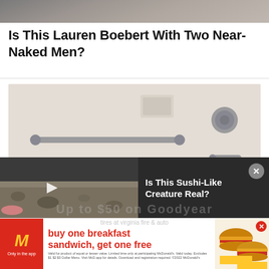[Figure (photo): Top cropped photo showing indistinct background, partially visible image at top]
Is This Lauren Boebert With Two Near-Naked Men?
[Figure (photo): Photo of a hotel/motel bathroom bathtub with two pieces of luggage (one blue, one black) sitting inside the tub. Grab bar on the wall, shower fixtures visible.]
[Figure (photo): Video ad thumbnail showing sandy/gravelly ground with play button. Text reads: Is This Sushi-Like Creature Real?]
[Figure (photo): McDonald's advertisement: buy one breakfast sandwich, get one free. Only in the app. Shows two breakfast sandwiches. Fine print about terms.]